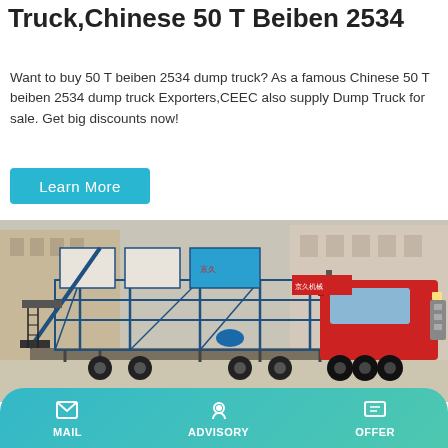Truck,Chinese 50 T Beiben 2534
Want to buy 50 T beiben 2534 dump truck? As a famous Chinese 50 T beiben 2534 dump truck Exporters,CEEC also supply Dump Truck for sale. Get big discounts now!
Learn More
[Figure (photo): A red heavy-duty truck (FAW brand) with blue industrial equipment/concrete batching plant loaded on a flatbed trailer, parked in a yard.]
MAIL   ADVISORY   OFFER